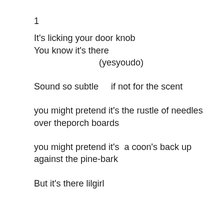1
It's licking your door knob
You know it's there
          (yesyoudo)
Sound so subtle     if not for the scent
you might pretend it's the rustle of needles
over theporch boards
you might pretend it's  a coon's back up
against the pine-bark
But it's there lilgirl